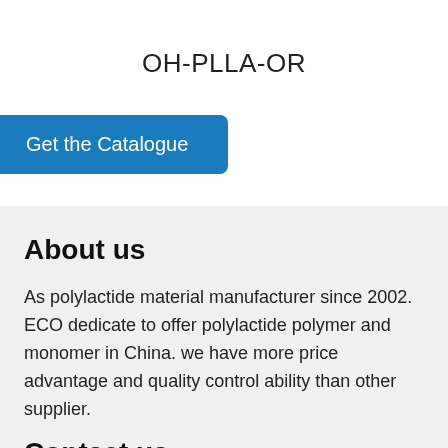OH-PLLA-OR
Get the Catalogue
About us
As polylactide material manufacturer since 2002. ECO dedicate to offer polylactide polymer and monomer in China. we have more price advantage and quality control ability than other supplier.
Contact us